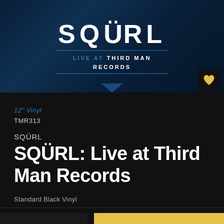[Figure (photo): SQÜRL Live at Third Man Records album hero image with dark blue background, band silhouettes, SQÜRL logo in large white bold letters, dotted blue lines, and 'LIVE AT THIRD MAN RECORDS' text below]
12" Vinyl
TMR313
SQÜRL
SQÜRL: Live at Third Man Records
Standard Black Vinyl
$15.00